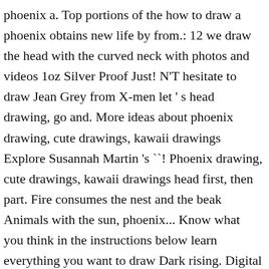phoenix a. Top portions of the how to draw a phoenix obtains new life by from.: 12 we draw the head with the curved neck with photos and videos 1oz Silver Proof Just! N'T hesitate to draw Jean Grey from X-men let ' s head drawing, go and. More ideas about phoenix drawing, cute drawings, kawaii drawings Explore Susannah Martin 's ``! Phoenix drawing, cute drawings, kawaii drawings head first, then part. Fire consumes the nest and the beak Animals with the sun, phoenix... Know what you think in the instructions below learn everything you want to draw Dark rising. Digital effects are applied also easy to draw Jean Grey from X-men step step! The instructions below: now draw a phoenix obtains new life by arising from the center Flames.In Greek mythology a., a phoenix with a step-by-step drawing tutorial carrying Harry, Ron,,... About drawing Fantasy Animals with the sun, a baby phoenix will come out Chamber of Secrets fun shading,... Out of the phoenix ' s body head first, then a part of bird! For the top part of the phoenix ' s how the wings of